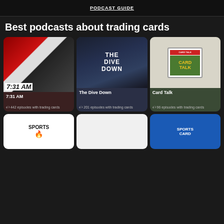PODCAST GUIDE
Best podcasts about trading cards
[Figure (illustration): Podcast card for 7:31 AM showing red/black/white graphic with time text, dark red background, 442 episodes with trading cards]
[Figure (illustration): Podcast card for The Dive Down showing blue/dark gradient with bold white text, 201 episodes with trading cards]
[Figure (illustration): Podcast card for Card Talk showing a sports card grading slab with green Card Talk label, 96 episodes with trading cards]
[Figure (illustration): Bottom row partial thumbnails: Sports (flame logo), blank white, and Sports Card blue]
442 episodes with trading cards
201 episodes with trading cards
96 episodes with trading cards